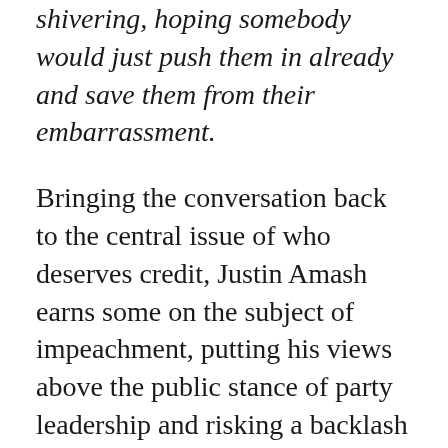shivering, hoping somebody would just push them in already and save them from their embarrassment.
Bringing the conversation back to the central issue of who deserves credit, Justin Amash earns some on the subject of impeachment, putting his views above the public stance of party leadership and risking a backlash from party organizers and voters alike. But that's as far as it goes.
Along these lines, the Democrats get some credit for generally adopting more progressive policy positions than the Republicans. That,